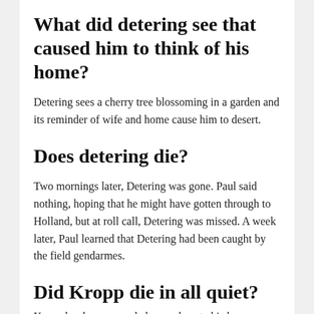What did detering see that caused him to think of his home?
Detering sees a cherry tree blossoming in a garden and its reminder of wife and home cause him to desert.
Does detering die?
Two mornings later, Detering was gone. Paul said nothing, hoping that he might have gotten through to Holland, but at roll call, Detering was missed. A week later, Paul learned that Detering had been caught by the field gendarmes.
Did Kropp die in all quiet?
Kropp has been wounded very close to his knee